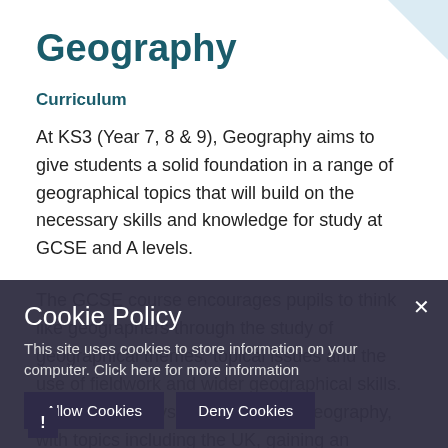Geography
Curriculum
At KS3 (Year 7, 8 & 9), Geography aims to give students a solid foundation in a range of geographical topics that will build on the necessary skills and knowledge for study at GCSE and A levels.
The GCSE course encourages pupils to think like geographers through the study of geographical themes, topical issues and the use of fieldwork and wider geographical skills. Pupils study physical and human geography, with topics including the UK, gaining an appreciation for the changes to the UK and…
[Figure (screenshot): Cookie Policy overlay dialog on a school website. Contains title 'Cookie Policy', text 'This site uses cookies to store information on your computer. Click here for more information', two buttons: 'Allow Cookies' and 'Deny Cookies', and a close (×) button. A warning icon (!) appears at bottom-left. Background shows faded Geography curriculum text.]